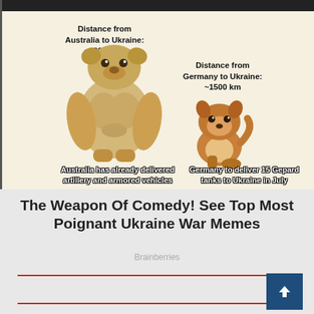[Figure (illustration): Meme comparing Australia and Germany's willingness to send weapons to Ukraine using 'Buff Doge' and 'Small Doge' meme format. Left side shows large muscular dog labelled 'Distance from Australia to Ukraine: ~13000 km' with caption 'Australia has already delivered artillery and armored vehicles'. Right side shows small sitting dog labelled 'Distance from Germany to Ukraine: ~1500 km' with caption 'Germany to deliver 15 Gepard tanks to Ukraine in July'.]
The Weapon Of Comedy! See Top Most Poignant Ukraine War Memes
Brainberries